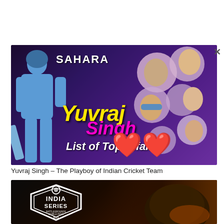[Figure (photo): Promotional image for 'Yuvraj Singh – List of Top Affairs' showing a cricket player in blue Indian jersey on the left, overlaid with bold yellow text 'Yuvraj', pink text 'Singh', white italic text 'List of Top Affairs', and a collage of women on the right side against a purple background, with red heart emojis.]
Yuvraj Singh – The Playboy of Indian Cricket Team
[Figure (photo): Dark-themed promotional image showing the BGMI (Battlegrounds Mobile India) India Series 2021 logo in white on the left, and a dark helmet visible on the right side with glowing orange embers/sparks in the background.]